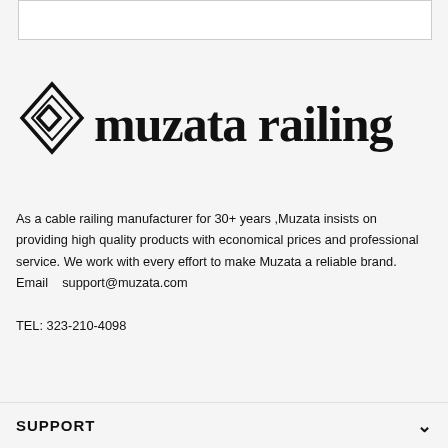[Figure (logo): Muzata Railing logo with diamond/arrow geometric icon and bold serif text 'muzata railing']
As a cable railing manufacturer for 30+ years ,Muzata insists on providing high quality products with economical prices and professional service. We work with every effort to make Muzata a reliable brand.
Email    support@muzata.com
TEL: 323-210-4098
SUPPORT